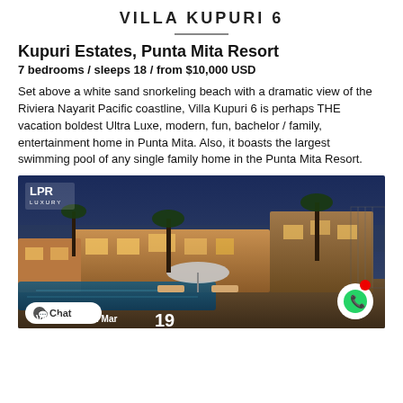VILLA KUPURI 6
Kupuri Estates, Punta Mita Resort
7 bedrooms / sleeps 18 / from $10,000 USD
Set above a white sand snorkeling beach with a dramatic view of the Riviera Nayarit Pacific coastline, Villa Kupuri 6 is perhaps THE vacation boldest Ultra Luxe, modern, fun, bachelor / family, entertainment home in Punta Mita. Also, it boasts the largest swimming pool of any single family home in the Punta Mita Resort.
[Figure (photo): Night/evening exterior photo of Villa Lagos del Mar showing illuminated pool, stone and wood architecture, palm trees, patio furniture and umbrella. LPR Luxury watermark in top-left. Number 19 visible at bottom.]